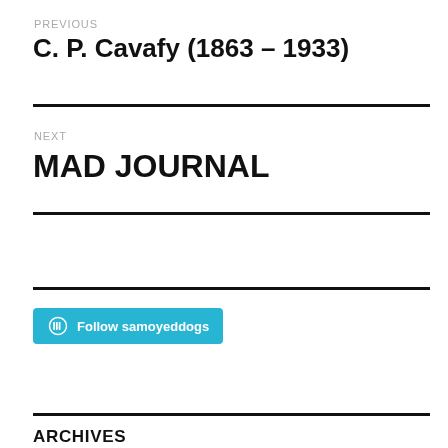PREVIOUS
C. P. Cavafy (1863 – 1933)
NEXT
MAD JOURNAL
[Figure (other): WordPress Follow button for samoyeddogs blog]
ARCHIVES